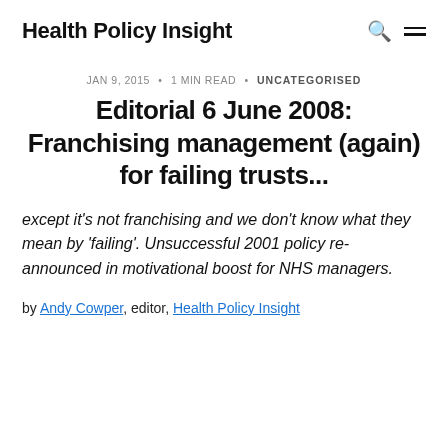Health Policy Insight
JAN 9, 2015 • 1 MIN READ • UNCATEGORISED
Editorial 6 June 2008: Franchising management (again) for failing trusts...
except it's not franchising and we don't know what they mean by 'failing'. Unsuccessful 2001 policy re-announced in motivational boost for NHS managers.
by Andy Cowper, editor, Health Policy Insight